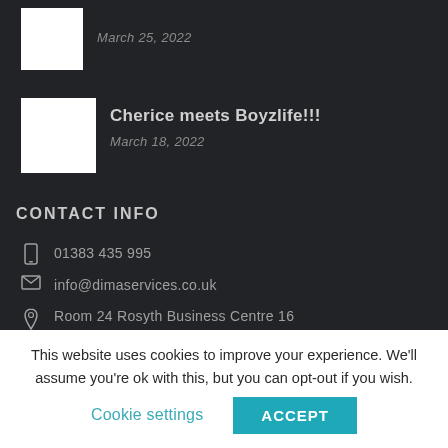[Figure (photo): Small white thumbnail image placeholder]
March 25, 2022
[Figure (photo): White thumbnail image placeholder for Cherice meets Boyzlife post]
Cherice meets Boyzlife!!!
March 18, 2022
CONTACT INFO
01383 435 995
info@dimaservices.co.uk
Room 24 Rosyth Business Centre 16 Comarty Campus Rosyth KY11 2WX
This website uses cookies to improve your experience. We'll assume you're ok with this, but you can opt-out if you wish.
Cookie settings
ACCEPT